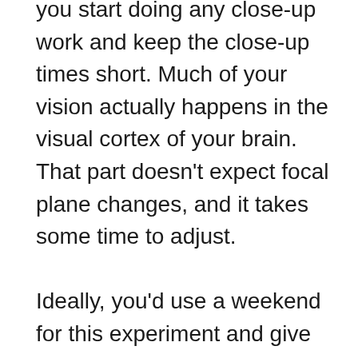you start doing any close-up work and keep the close-up times short. Much of your vision actually happens in the visual cortex of your brain. That part doesn't expect focal plane changes, and it takes some time to adjust.

Ideally, you'd use a weekend for this experiment and give yourself a bit of time.

I'll tell you this: If you don't wear a full minus prescription for close-up viewing